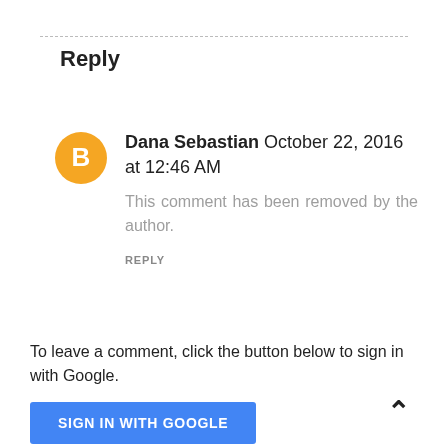Reply
Dana Sebastian October 22, 2016 at 12:46 AM
This comment has been removed by the author.
REPLY
To leave a comment, click the button below to sign in with Google.
SIGN IN WITH GOOGLE